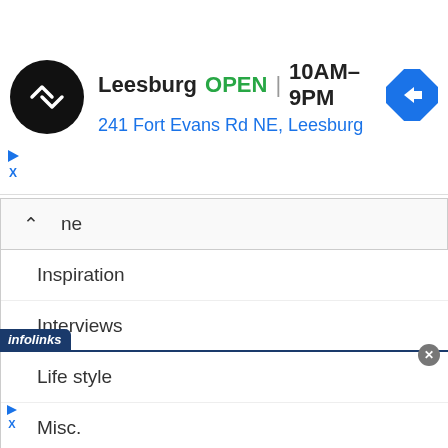[Figure (screenshot): Top advertisement banner: Leesburg store, OPEN 10AM-9PM, 241 Fort Evans Rd NE, Leesburg with navigation arrow icon]
ne
Inspiration
Interviews
Life style
Misc.
Movies
[Figure (screenshot): Bottom advertisement banner: Ashburn store, OPEN 7:30AM-6PM, 43781 Parkhurst Plaza, Ashburn with navigation arrow icon and Virginia Tire & Auto logo]